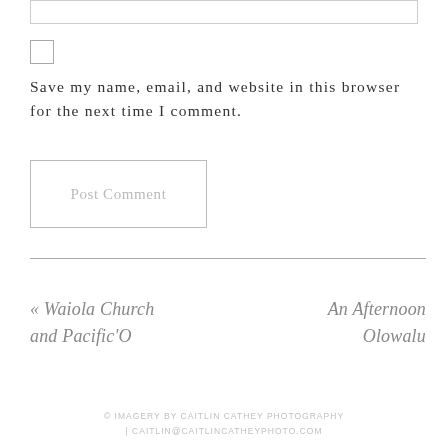[Figure (other): Empty text input box at top of page]
[Figure (other): Checkbox UI element]
Save my name, email, and website in this browser for the next time I comment.
[Figure (other): Post Comment button]
« Waiola Church and Pacific'O
An Afternoon Olowalu
© IMAGERY BY CAITLIN CATHEY PHOTOGRAPHY | CAITLIN@CAITLINCATHEYPHOTO.COM